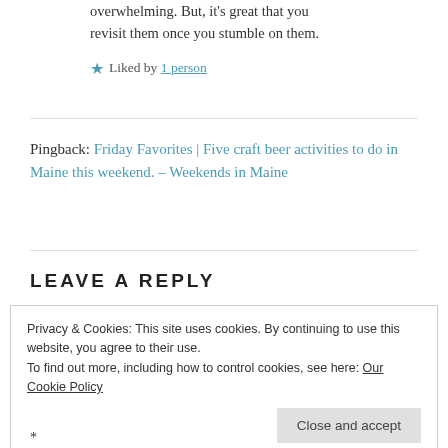overwhelming. But, it's great that you revisit them once you stumble on them.
★ Liked by 1 person
Pingback: Friday Favorites | Five craft beer activities to do in Maine this weekend. – Weekends in Maine
LEAVE A REPLY
Privacy & Cookies: This site uses cookies. By continuing to use this website, you agree to their use. To find out more, including how to control cookies, see here: Our Cookie Policy
*